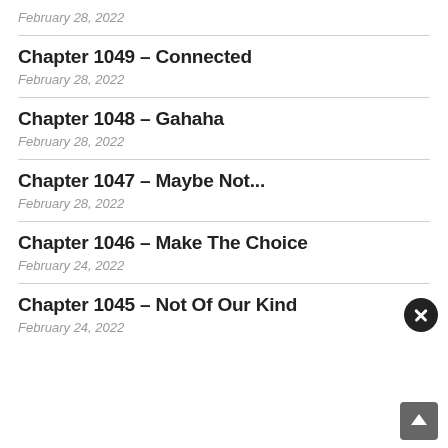February 28, 2022
Chapter 1049 – Connected
February 28, 2022
Chapter 1048 – Gahaha
February 28, 2022
Chapter 1047 – Maybe Not...
February 28, 2022
Chapter 1046 – Make The Choice
February 24, 2022
Chapter 1045 – Not Of Our Kind
February 24, 2022